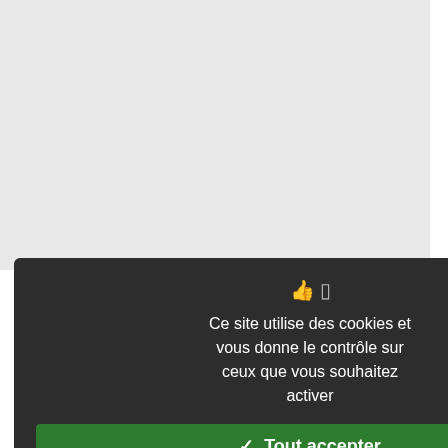who will definitely go on striking g... illustrators and film makers (see Coa...
34   Haggard's popularity may come fr... issues: the importance of nature an... and their environment, mutual respe... cultural heritage of the Zulu people... nd traditions (mainly using a fictio... defence of the poor in big cities, fi... WWI), the danger of capitalism re... ppetite of the entrepreneurs exploiti... ssues are still very topical.
What is more, his themes of pred... ifficulty to communicate with others... nd death, religious beliefs etc. St... ngle is very stimulating and we ca... iscover a lot about Haggard as his c... ollectors' strongboxes in different... spects on the period and on the n... ction, and the critical writing devote... nd contradictions are part of his l... ebates of his time and he generally... ialogues to expose conflicting posi... ssues etc.), but on the other hand, h... e leaves the door open to new read...
[Figure (screenshot): Cookie consent dialog overlay with dark background. Contains icons, French text 'Ce site utilise des cookies et vous donne le contrôle sur ceux que vous souhaitez activer', a green 'Tout accepter' button, a red 'Tout refuser' button, a white 'Personnaliser' button, and a 'Politique de confidentialité' link.]